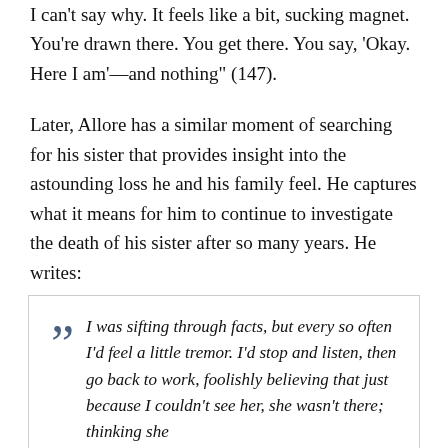I can't say why. It feels like a bit, sucking magnet. You're drawn there. You get there. You say, 'Okay. Here I am'—and nothing" (147).
Later, Allore has a similar moment of searching for his sister that provides insight into the astounding loss he and his family feel. He captures what it means for him to continue to investigate the death of his sister after so many years. He writes:
I was sifting through facts, but every so often I'd feel a little tremor. I'd stop and listen, then go back to work, foolishly believing that just because I couldn't see her, she wasn't there; thinking she